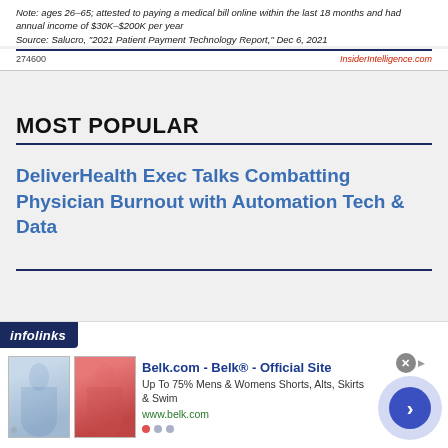Note: ages 26-65; attested to paying a medical bill online within the last 18 months and had annual income of $30K-$200K per year
Source: Salucro, "2021 Patient Payment Technology Report," Dec 6, 2021
274600	InsiderIntelligence.com
MOST POPULAR
DeliverHealth Exec Talks Combatting Physician Burnout with Automation Tech & Data
[Figure (screenshot): Advertisement banner from Infolinks for Belk.com showing clothing images, 'Belk.com - Belk® - Official Site' headline, 'Up To 75% Mens & Womens Shorts, Alts, Skirts & Swim' text, www.belk.com URL, navigation arrow circle, and close button.]